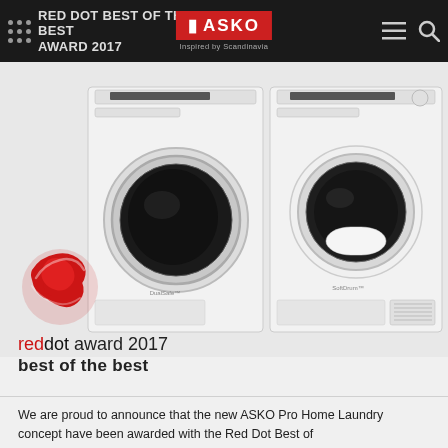RED DOT BEST OF THE BEST AWARD 2017
[Figure (photo): Two ASKO Pro Home Laundry appliances (washing machine and dryer) side by side, white with circular doors, on a light gray background. Red Dot award logo (red swirling globe) shown bottom left of the product image, with text 'reddot award 2017 best of the best' below.]
We are proud to announce that the new ASKO Pro Home Laundry concept have been awarded with the Red Dot Best of